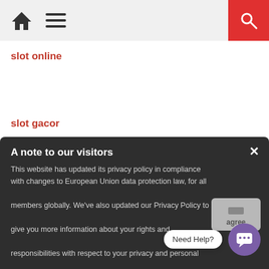Navigation bar with home icon, menu icon, and search button
slot online
slot gacor
link gacor
slot online
situs slot tergacau
A note to our visitors
This website has updated its privacy policy in compliance with changes to European Union data protection law, for all members globally. We've also updated our Privacy Policy to give you more information about your rights and responsibilities with respect to your privacy and personal information. Please read this to review the updates about which cookies we use and what information we collect on our site. By continuing to use this site, you are agreeing to our updated privacy policy.